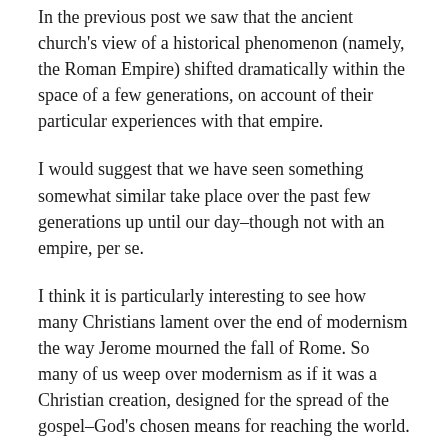In the previous post we saw that the ancient church's view of a historical phenomenon (namely, the Roman Empire) shifted dramatically within the space of a few generations, on account of their particular experiences with that empire.
I would suggest that we have seen something somewhat similar take place over the past few generations up until our day–though not with an empire, per se.
I think it is particularly interesting to see how many Christians lament over the end of modernism the way Jerome mourned the fall of Rome. So many of us weep over modernism as if it was a Christian creation, designed for the spread of the gospel–God's chosen means for reaching the world.
In reality, there is little that is further from the truth. In and of itself modernism was never a friend to the gospel. Secular modernist philosophers and scientists have